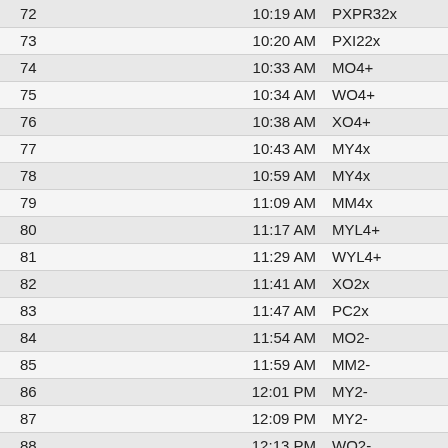| # | Time | Code |
| --- | --- | --- |
| 72 | 10:19 AM | PXPR32x |
| 73 | 10:20 AM | PXI22x |
| 74 | 10:33 AM | MO4+ |
| 75 | 10:34 AM | WO4+ |
| 76 | 10:38 AM | XO4+ |
| 77 | 10:43 AM | MY4x |
| 78 | 10:59 AM | MY4x |
| 79 | 11:09 AM | MM4x |
| 80 | 11:17 AM | MYL4+ |
| 81 | 11:29 AM | WYL4+ |
| 82 | 11:41 AM | XO2x |
| 83 | 11:47 AM | PC2x |
| 84 | 11:54 AM | MO2- |
| 85 | 11:59 AM | MM2- |
| 86 | 12:01 PM | MY2- |
| 87 | 12:09 PM | MY2- |
| 88 | 12:13 PM | WO2- |